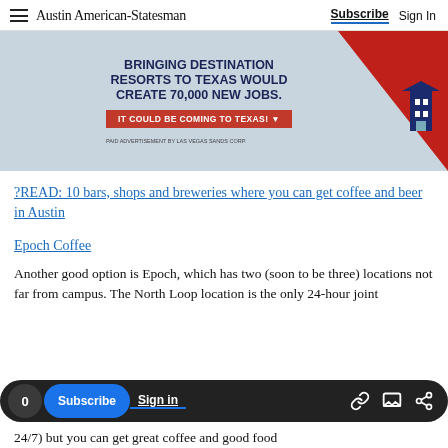Austin American-Statesman | Subscribe | Sign In
[Figure (infographic): Advertisement: BRINGING DESTINATION RESORTS TO TEXAS WOULD CREATE 70,000 NEW JOBS. IT COULD BE COMING TO TEXAS! Paid advertisement by Las Vegas Sands Corp.]
?READ: 10 bars, shops and breweries where you can get coffee and beer in Austin
Epoch Coffee
Another good option is Epoch, which has two (soon to be three) locations not far from campus. The North Loop location is the only 24-hour joint
0 Subscribe Sign in
24/7) but you can get great coffee and good food